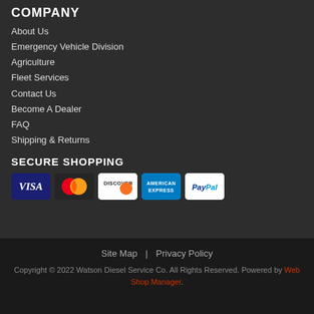COMPANY
About Us
Emergency Vehicle Division
Agriculture
Fleet Services
Contact Us
Become A Dealer
FAQ
Shipping & Returns
SECURE SHOPPING
[Figure (logo): Payment method logos: Visa, Mastercard, Discover, American Express, PayPal]
Site Map | Privacy Policy
Copyright © 2022 Watson Diesel Service Co. All Rights Reserved. Powered by Web Shop Manager.